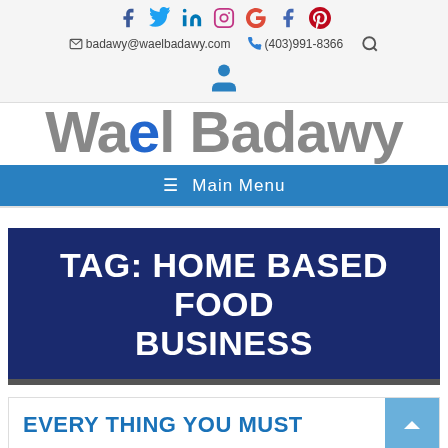Social icons: facebook, twitter, linkedin, instagram, google+, facebook, pinterest
badawy@waelbadawy.com  (403)991-8366  [search icon]
Wael Badawy
≡ Main Menu
TAG: HOME BASED FOOD BUSINESS
EVERY THING YOU MUST